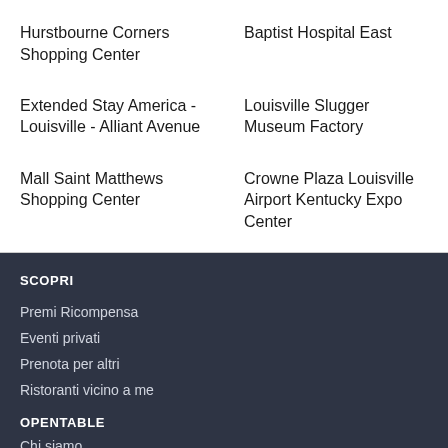Hurstbourne Corners Shopping Center
Baptist Hospital East
Extended Stay America - Louisville - Alliant Avenue
Louisville Slugger Museum Factory
Mall Saint Matthews Shopping Center
Crowne Plaza Louisville Airport Kentucky Expo Center
SCOPRI
Premi Ricompensa
Eventi privati
Prenota per altri
Ristoranti vicino a me
OPENTABLE
Chi siamo